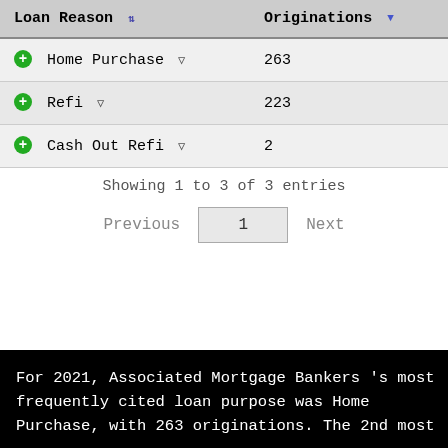| Loan Reason | Originations |
| --- | --- |
| Home Purchase | 263 |
| Refi | 223 |
| Cash Out Refi | 2 |
Showing 1 to 3 of 3 entries
Previous  1  Next
For 2021, Associated Mortgage Bankers 's most frequently cited loan purpose was Home Purchase, with 263 originations. The 2nd most